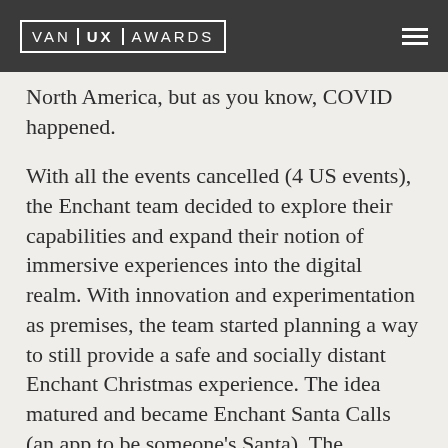VAN UX AWARDS
North America, but as you know, COVID happened.
With all the events cancelled (4 US events), the Enchant team decided to explore their capabilities and expand their notion of immersive experiences into the digital realm. With innovation and experimentation as premises, the team started planning a way to still provide a safe and socially distant Enchant Christmas experience. The idea matured and became Enchant Santa Calls (an app to be someone's Santa). The